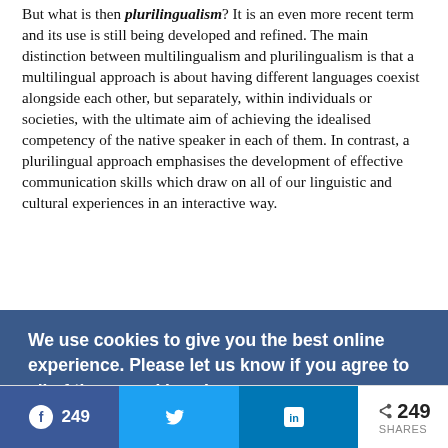But what is then plurilingualism? It is an even more recent term and its use is still being developed and refined. The main distinction between multilingualism and plurilingualism is that a multilingual approach is about having different languages coexist alongside each other, but separately, within individuals or societies, with the ultimate aim of achieving the idealised competency of the native speaker in each of them. In contrast, a plurilingual approach emphasises the development of effective communication skills which draw on all of our linguistic and cultural experiences in an interactive way.
Plurilingualism is a life-long activity, a process of learning languages of home, society and other peoples; it acknowledges the partial nature of the knowledge anyone can have of these languages, learnt with mother tongue or not. Therefore, plurilingualism removes the ideal of the native speaker as the ultimate achievement and replaces it with
[Figure (screenshot): Cookie consent overlay banner with dark blue background reading 'We use cookies to give you the best online experience. Please let us know if you agree to all of these cookies. Learn more' with a yellow 'Yes, I agree' button below.]
[Figure (infographic): Social media share bar at bottom showing Facebook (249 shares), Twitter, LinkedIn, and total 249 SHARES share count buttons.]